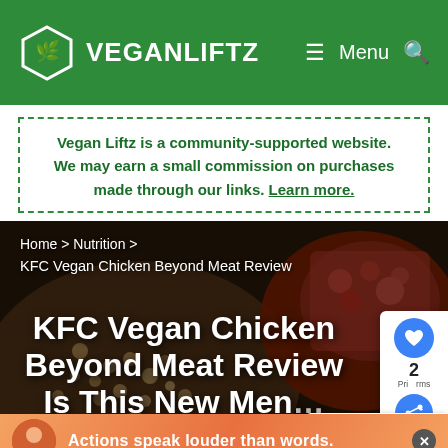VEGANLIFTZ — Menu
Vegan Liftz is a community-supported website. We may earn a small commission on purchases made through our links. Learn more.
[Figure (photo): Hero image showing vegan food (lentils, chickpeas, tomato-based dishes) as background for article header]
Home > Nutrition > KFC Vegan Chicken Beyond Meat Review
KFC Vegan Chicken Beyond Meat Review Is This New Men…